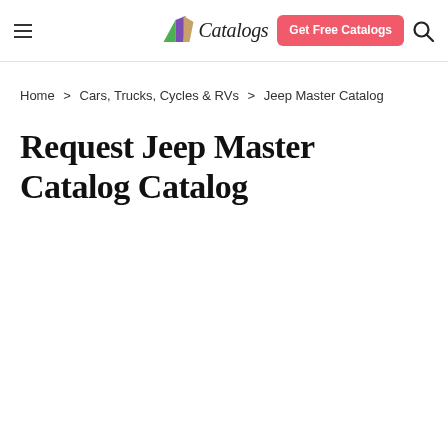Catalogs — Get Free Catalogs
Home > Cars, Trucks, Cycles & RVs > Jeep Master Catalog
Request Jeep Master Catalog Catalog